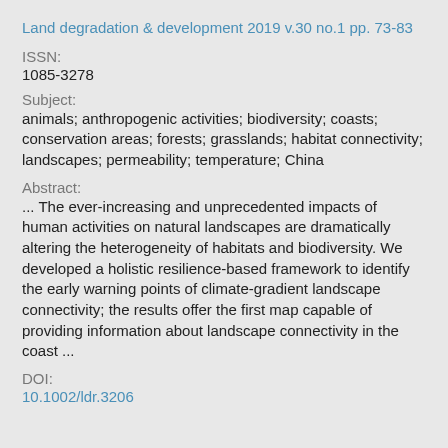Land degradation & development 2019 v.30 no.1 pp. 73-83
ISSN:
1085-3278
Subject:
animals; anthropogenic activities; biodiversity; coasts; conservation areas; forests; grasslands; habitat connectivity; landscapes; permeability; temperature; China
Abstract:
... The ever-increasing and unprecedented impacts of human activities on natural landscapes are dramatically altering the heterogeneity of habitats and biodiversity. We developed a holistic resilience-based framework to identify the early warning points of climate-gradient landscape connectivity; the results offer the first map capable of providing information about landscape connectivity in the coast ...
DOI:
10.1002/ldr.3206